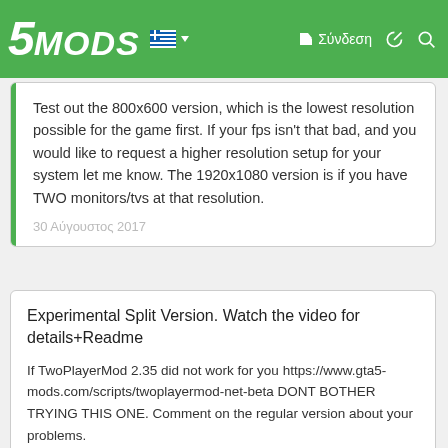5MODS navigation bar with logo, Greek flag, sign-in, and search icons
pixels wide, you need a bigger monitor. I could scale the game, but it would look off / run slower.
Test out the 800x600 version, which is the lowest resolution possible for the game first. If your fps isn't that bad, and you would like to request a higher resolution setup for your system let me know. The 1920x1080 version is if you have TWO monitors/tvs at that resolution.
30 Αύγουστος 2017
Experimental Split Version. Watch the video for details+Readme
If TwoPlayerMod 2.35 did not work for you https://www.gta5-mods.com/scripts/twoplayermod-net-beta DONT BOTHER TRYING THIS ONE. Comment on the regular version about your problems.

Requirements:
A monitor at least 1600 pixels wide. Or 2 monitors. If you have a different resolution, let me know so I can release an adjusted version with appropriate offsets. You basically need enough room to render the game twice side by side. So like at